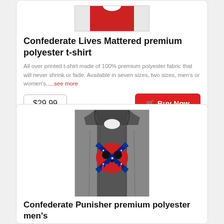[Figure (photo): Top portion of a red t-shirt product image]
Confederate Lives Mattered premium polyester t-shirt
All over printed t-shirt made of 100% premium polyester fabric that will never shrink or fade. Available in seven sizes, two sizes, men's or women's....see more
$29.99
Buy Now
[Figure (photo): A dark gray/charcoal sleeveless tank top (muscle shirt) with a Confederate flag-patterned Punisher skull graphic printed on the front]
Confederate Punisher premium polyester men's